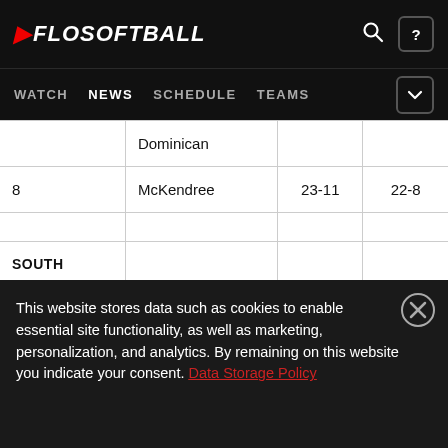FLOSOFTBALL — WATCH  NEWS  SCHEDULE  TEAMS
|  | Dominican |  |  |
| 8 | McKendree | 23-11 | 22-8 |
|  |  |  |  |
| SOUTH
CENTRAL |  |  |  |
This website stores data such as cookies to enable essential site functionality, as well as marketing, personalization, and analytics. By remaining on this website you indicate your consent. Data Storage Policy